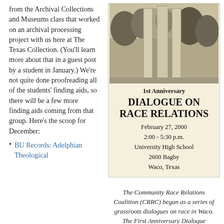from the Archival Collections and Museums class that worked on an archival processing project with us here at The Texas Collection. (You'll learn more about that in a guest post by a student in January.) We're not quite done proofreading all of the students' finding aids, so there will be a few more finding aids coming from that group. Here's the scoop for December:
BU Records: Adelphian Theological
[Figure (photo): Black and white photograph of columns or pillars, possibly a building or monument, with trees visible in the background. Part of a flyer for a community event.]
1st Anniversary
DIALOGUE ON RACE RELATIONS
February 27, 2000
2:00 - 5:30 p.m.
University High School
2600 Bagby
Waco, Texas
The Community Race Relations Coalition (CRRC) began as a series of grassroots dialogues on race in Waco. The First Anniversary Dialogue